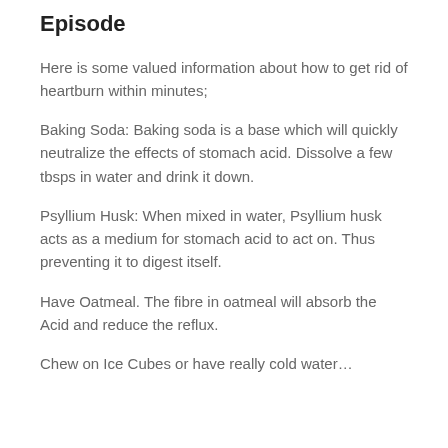Episode
Here is some valued information about how to get rid of heartburn within minutes;
Baking Soda: Baking soda is a base which will quickly neutralize the effects of stomach acid. Dissolve a few tbsps in water and drink it down.
Psyllium Husk: When mixed in water, Psyllium husk acts as a medium for stomach acid to act on. Thus preventing it to digest itself.
Have Oatmeal. The fibre in oatmeal will absorb the Acid and reduce the reflux.
Chew on Ice Cubes or have really cold water…